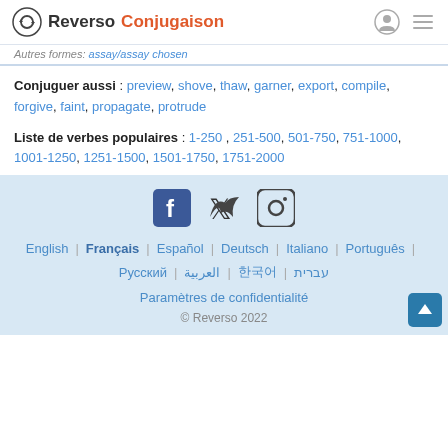Reverso Conjugaison
Autres formes: assay/assay chosen
Conjuguer aussi : preview, shove, thaw, garner, export, compile, forgive, faint, propagate, protrude
Liste de verbes populaires : 1-250 , 251-500 , 501-750 , 751-1000 , 1001-1250 , 1251-1500 , 1501-1750 , 1751-2000
[Figure (logo): Social media icons: Facebook, Twitter, Instagram]
English | Français | Español | Deutsch | Italiano | Português | Русский | العربية | 한국어 | עברית
Paramètres de confidentialité
© Reverso 2022